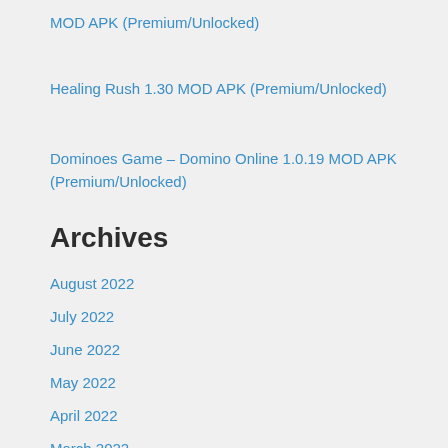MOD APK (Premium/Unlocked)
Healing Rush 1.30 MOD APK (Premium/Unlocked)
Dominoes Game – Domino Online 1.0.19 MOD APK (Premium/Unlocked)
Archives
August 2022
July 2022
June 2022
May 2022
April 2022
March 2022
February 2022